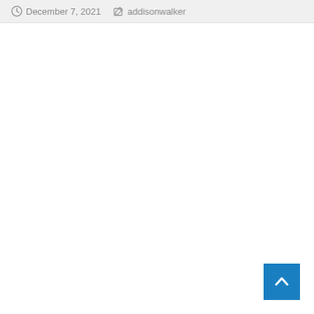December 7, 2021  addisonwalker
[Figure (other): Back to top button — blue square with white chevron/arrow pointing up, positioned bottom-right corner]